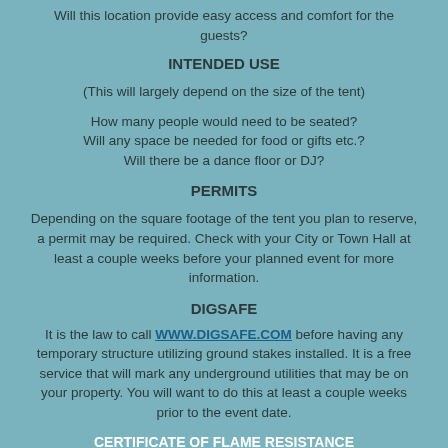Will this location provide easy access and comfort for the guests?
INTENDED USE
(This will largely depend on the size of the tent)
How many people would need to be seated?
Will any space be needed for food or gifts etc.?
Will there be a dance floor or DJ?
PERMITS
Depending on the square footage of the tent you plan to reserve, a permit may be required. Check with your City or Town Hall at least a couple weeks before your planned event for more information.
DIGSAFE
It is the law to call WWW.DIGSAFE.COM before having any temporary structure utilizing ground stakes installed. It is a free service that will mark any underground utilities that may be on your property. You will want to do this at least a couple weeks prior to the event date.
CERTIFICATE OF FLAME RESISTANCE
At Party Season Tent Rentals we believe in customer safety. Our rental equipment is made for the rental industry especially our